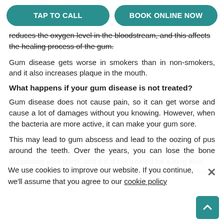TAP TO CALL | BOOK ONLINE NOW
reduces the oxygen level in the bloodstream, and this affects the healing process of the gum.
Gum disease gets worse in smokers than in non-smokers, and it also increases plaque in the mouth.
What happens if your gum disease is not treated?
Gum disease does not cause pain, so it can get worse and cause a lot of damages without you knowing. However, when the bacteria are more active, it can make your gum sore.
This may lead to gum abscess and lead to the oozing of pus around the teeth. Over the years, you can lose the bone supporting your teeth, and if it is not treated for a long time,
treatment will be more complex. You can visit our dentist today before the gum disease worsens.
We use cookies to improve our website. If you continue, we'll assume that you agree to our cookie policy